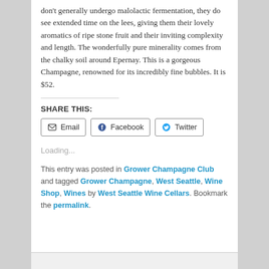don't generally undergo malolactic fermentation, they do see extended time on the lees, giving them their lovely aromatics of ripe stone fruit and their inviting complexity and length. The wonderfully pure minerality comes from the chalky soil around Epernay. This is a gorgeous Champagne, renowned for its incredibly fine bubbles. It is $52.
SHARE THIS:
Loading...
This entry was posted in Grower Champagne Club and tagged Grower Champagne, West Seattle, Wine Shop, Wines by West Seattle Wine Cellars. Bookmark the permalink.